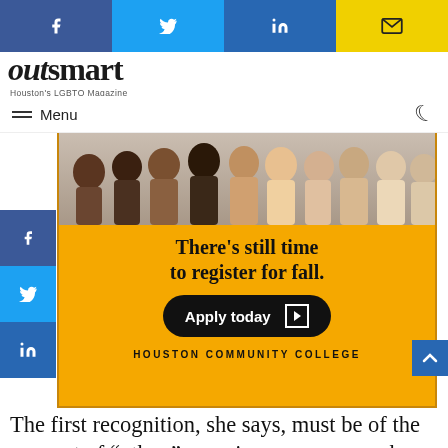[Figure (screenshot): Top social share bar with Facebook, Twitter, LinkedIn, and email icons]
[Figure (logo): OutSmart Houston's LGBTQ Magazine logo]
Menu
[Figure (photo): Houston Community College advertisement: group of diverse students at top, gold background with text 'There's still time to register for fall. Apply today' and 'HOUSTON COMMUNITY COLLEGE']
The first recognition, she says, must be of the concept of “other,” meaning any person who so far removed from oneself that the distance cannot be overcome. As conservative reaction